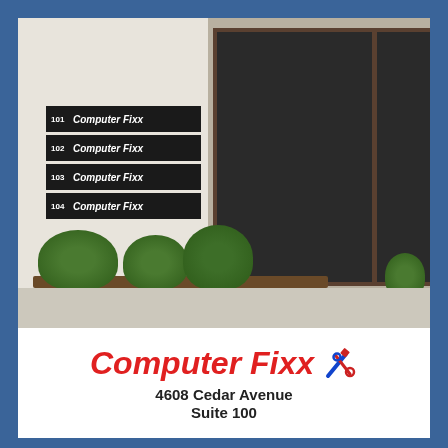[Figure (photo): Exterior photo of Computer Fixx office building showing glass door entrance, wall-mounted suite signs (101-104 Computer Fixx), neon Computer Fixx sign in window, and landscaping shrubs in front]
Computer Fixx
4608 Cedar Avenue
Suite 100